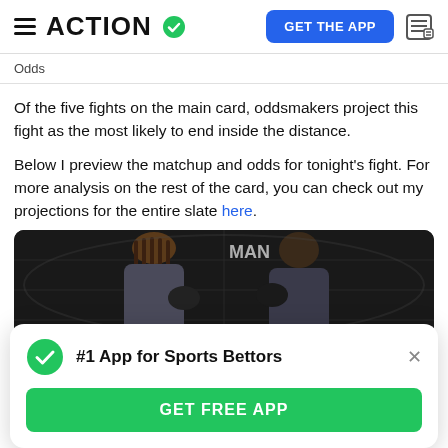ACTION #1 App for Sports Bettors — GET THE APP
Odds
Of the five fights on the main card, oddsmakers project this fight as the most likely to end inside the distance.
Below I preview the matchup and odds for tonight's fight. For more analysis on the rest of the card, you can check out my projections for the entire slate here.
[Figure (photo): Two MMA fighters facing off inside a cage, dark background, braided-hair fighter on left facing a bald fighter on right]
#1 App for Sports Bettors
GET FREE APP